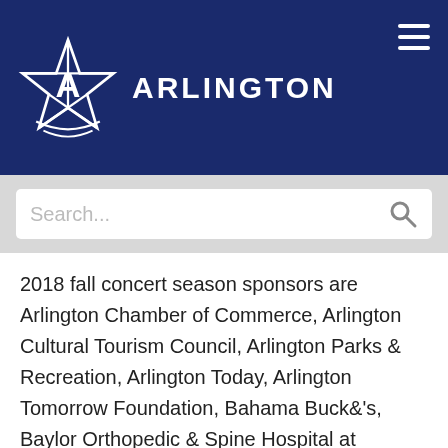[Figure (logo): Arlington city logo with star emblem and 'ARLINGTON' text on dark navy background header with hamburger menu icon]
[Figure (screenshot): Search bar with placeholder text 'Search...' and magnifying glass icon on light gray background]
2018 fall concert season sponsors are Arlington Chamber of Commerce, Arlington Cultural Tourism Council, Arlington Parks & Recreation, Arlington Today, Arlington Tomorrow Foundation, Bahama Buck&'s, Baylor Orthopedic & Spine Hospital at Arlington, City of Arlington, Candlelite Inn, Downtown Arlington Management Corp., Dr Pepper/Snapple (7-Up, Clamato, Squirt), Fort Worth Weekly, J. Gilligan&'s, Levitt Foundation, MillerCoors, NEA/Artworks, Nothing Bundt Cakes North Arlington, Alan & Bonnie Petsche, Pianotex,